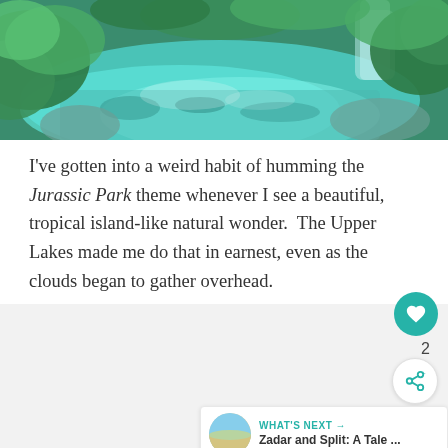[Figure (photo): Aerial or overhead view of a tropical natural wonder with turquoise/teal water, lush green jungle vegetation, and a waterfall visible in the background. The water is clear with visible rocky bottom.]
I've gotten into a weird habit of humming the Jurassic Park theme whenever I see a beautiful, tropical island-like natural wonder.  The Upper Lakes made me do that in earnest, even as the clouds began to gather overhead.